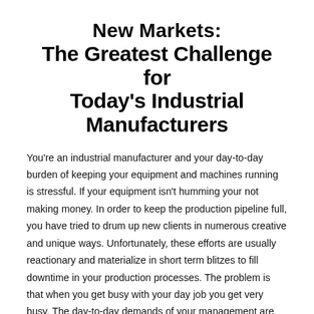New Markets: The Greatest Challenge for Today's Industrial Manufacturers
You're an industrial manufacturer and your day-to-day burden of keeping your equipment and machines running is stressful. If your equipment isn't humming your not making money. In order to keep the production pipeline full, you have tried to drum up new clients in numerous creative and unique ways. Unfortunately, these efforts are usually reactionary and materialize in short term blitzes to fill downtime in your production processes. The problem is that when you get busy with your day job you get very busy. The day-to-day demands of your management are consumed with problem solving, resource allocation, and project management. There's not